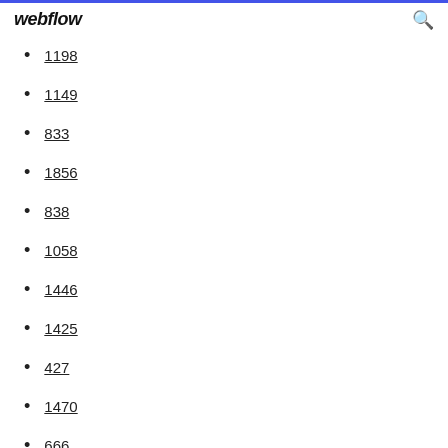webflow
1198
1149
833
1856
838
1058
1446
1425
427
1470
666
1740
1919